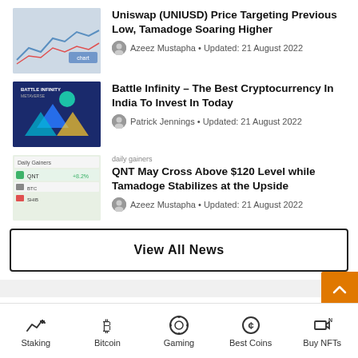[Figure (screenshot): Thumbnail image of a crypto price chart (Uniswap)]
Uniswap (UNIUSD) Price Targeting Previous Low, Tamadoge Soaring Higher
Azeez Mustapha • Updated: 21 August 2022
[Figure (screenshot): Thumbnail image for Battle Infinity article with blue geometric shapes]
Battle Infinity – The Best Cryptocurrency In India To Invest In Today
Patrick Jennings • Updated: 21 August 2022
[Figure (screenshot): Thumbnail image for QNT article with green/white crypto table]
QNT May Cross Above $120 Level while Tamadoge Stabilizes at the Upside
Azeez Mustapha • Updated: 21 August 2022
View All News
Best Platforms